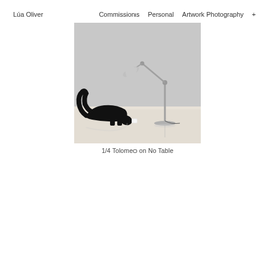Lúa Oliver   Commissions   Personal   Artwork Photography   +
[Figure (photo): A black cat sniffing a small white object on a reflective light-colored floor, with a silver articulated Tolomeo desk lamp standing without a table beside it, against a grey wall background.]
1/4 Tolomeo on No Table